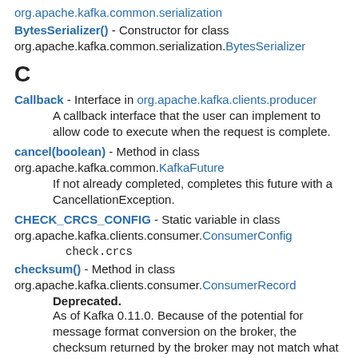org.apache.kafka.common.serialization
BytesSerializer() - Constructor for class org.apache.kafka.common.serialization.BytesSerializer
C
Callback - Interface in org.apache.kafka.clients.producer
A callback interface that the user can implement to allow code to execute when the request is complete.
cancel(boolean) - Method in class org.apache.kafka.common.KafkaFuture
If not already completed, completes this future with a CancellationException.
CHECK_CRCS_CONFIG - Static variable in class org.apache.kafka.clients.consumer.ConsumerConfig
check.crcs
checksum() - Method in class org.apache.kafka.clients.consumer.ConsumerRecord
Deprecated.
As of Kafka 0.11.0. Because of the potential for message format conversion on the broker, the checksum returned by the broker may not match what was computed by the producer. It is therefore unsafe to depend on this checksum for